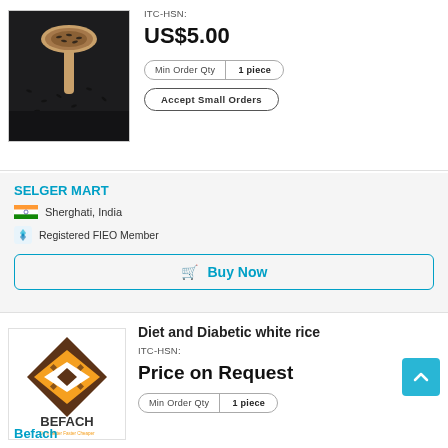[Figure (photo): Black rice grains with a wooden spoon on top]
ITC-HSN:
US$5.00
Min Order Qty | 1 piece
Accept Small Orders
SELGER MART
Sherghati, India
Registered FIEO Member
Buy Now
[Figure (logo): BEFACH logo - diamond shape in brown and orange, text: BEFACH Do it Better Faster Cheaper]
Diet and Diabetic white rice
ITC-HSN:
Price on Request
Min Order Qty | 1 piece
Befach